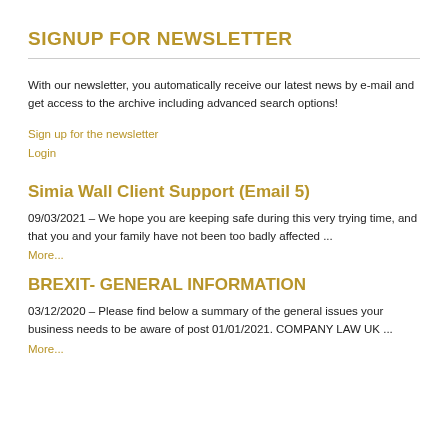SIGNUP FOR NEWSLETTER
With our newsletter, you automatically receive our latest news by e-mail and get access to the archive including advanced search options!
Sign up for the newsletter
Login
Simia Wall Client Support (Email 5)
09/03/2021 – We hope you are keeping safe during this very trying time, and that you and your family have not been too badly affected ... More...
BREXIT- GENERAL INFORMATION
03/12/2020 – Please find below a summary of the general issues your business needs to be aware of post 01/01/2021. COMPANY LAW UK ... More...